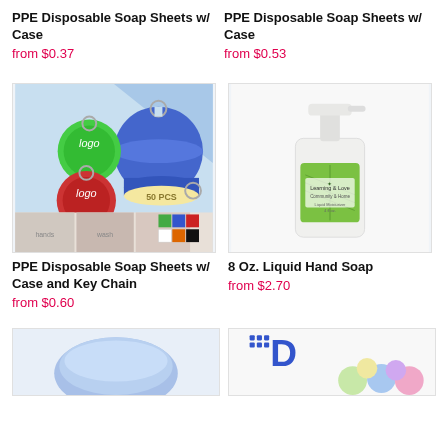PPE Disposable Soap Sheets w/ Case
from $0.37
PPE Disposable Soap Sheets w/ Case
from $0.53
[Figure (photo): PPE Disposable Soap Sheets with Case and Key Chain product image showing circular keychain cases in blue, red, green colors with soap sheets inside, plus color swatches]
PPE Disposable Soap Sheets w/ Case and Key Chain
from $0.60
[Figure (photo): 8 oz liquid hand soap pump bottle with green leaf label]
8 Oz. Liquid Hand Soap
from $2.70
[Figure (photo): Partial product image bottom left - appears to be blue soap or sponge product]
[Figure (photo): Partial product image bottom right - appears to show a D logo and colorful round soap items]